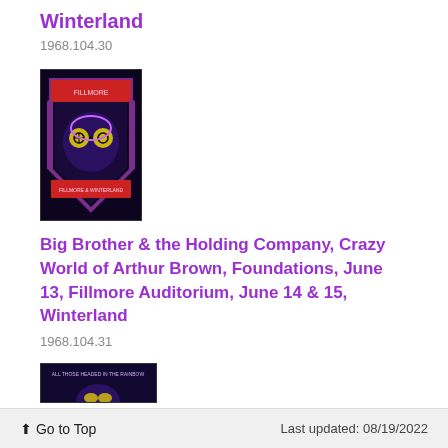Winterland
1968.104.30
[Figure (illustration): Psychedelic concert poster with face and colorful design, Fillmore/Winterland style art]
Big Brother & the Holding Company, Crazy World of Arthur Brown, Foundations, June 13, Fillmore Auditorium, June 14 & 15, Winterland
1968.104.31
[Figure (illustration): Partial view of another psychedelic concert poster, partially visible at bottom of page]
Go to Top   Last updated: 08/19/2022